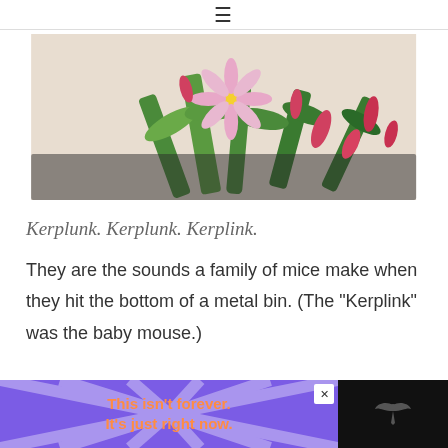≡
[Figure (photo): Close-up photo of pink Easter cactus flowers with green succulent leaves and buds against a light beige background]
Kerplunk. Kerplunk. Kerplink.
They are the sounds a family of mice make when they hit the bottom of a metal bin. (The "Kerplink" was the baby mouse.)
[Figure (infographic): Advertisement banner with purple background and starburst rays pattern, orange bold text reading 'This isn't forever. It's just right now.' with a close (X) button and dark right panel with small bird logo]